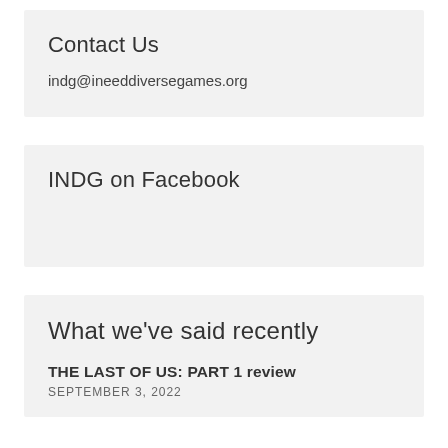Contact Us
indg@ineeddiversegames.org
INDG on Facebook
What we've said recently
THE LAST OF US: PART 1 review
SEPTEMBER 3, 2022